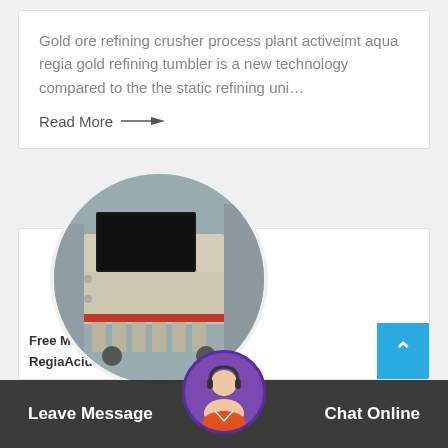Gold ore refining crusher process plant activeimt aqua regia gold refining tumbler is a new technology compared to the the static refining uni...
Read More →
[Figure (photo): Circular cropped photo of an industrial crusher/milling machine, cream/beige colored with a black display panel at top and red stripe at bottom, industrial background]
Free MillingGoldOreFromAqua RegiaAcid Molting By